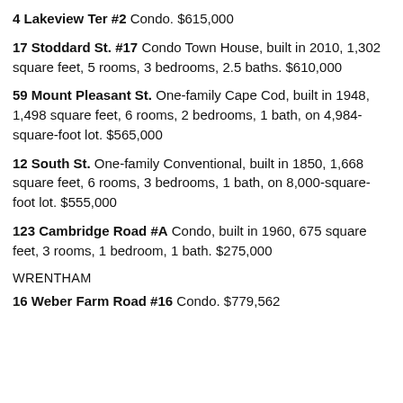4 Lakeview Ter #2 Condo. $615,000
17 Stoddard St. #17 Condo Town House, built in 2010, 1,302 square feet, 5 rooms, 3 bedrooms, 2.5 baths. $610,000
59 Mount Pleasant St. One-family Cape Cod, built in 1948, 1,498 square feet, 6 rooms, 2 bedrooms, 1 bath, on 4,984-square-foot lot. $565,000
12 South St. One-family Conventional, built in 1850, 1,668 square feet, 6 rooms, 3 bedrooms, 1 bath, on 8,000-square-foot lot. $555,000
123 Cambridge Road #A Condo, built in 1960, 675 square feet, 3 rooms, 1 bedroom, 1 bath. $275,000
WRENTHAM
16 Weber Farm Road #16 Condo. $779,562